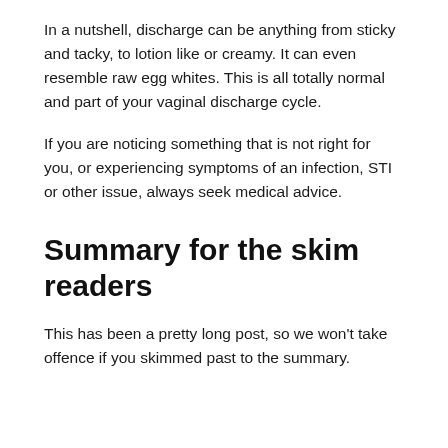In a nutshell, discharge can be anything from sticky and tacky, to lotion like or creamy. It can even resemble raw egg whites. This is all totally normal and part of your vaginal discharge cycle.
If you are noticing something that is not right for you, or experiencing symptoms of an infection, STI or other issue, always seek medical advice.
Summary for the skim readers
This has been a pretty long post, so we won't take offence if you skimmed past to the summary.